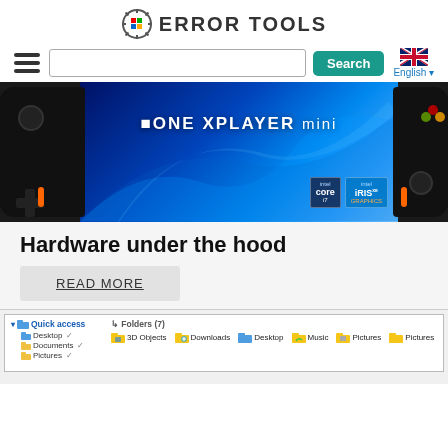ERROR TOOLS
[Figure (screenshot): Navigation bar with hamburger menu, search input, Search button, and English language selector with UK flag]
[Figure (photo): ONEXPLAYER mini handheld gaming device with Windows 11 wallpaper on screen, Intel Core and Iris Xe graphics badges visible]
Hardware under the hood
READ MORE
[Figure (screenshot): Windows File Explorer showing Quick access panel with Desktop, Documents, Pictures pinned items, and Folders section showing 3D Objects, Downloads, Desktop, Music, Pictures folders]